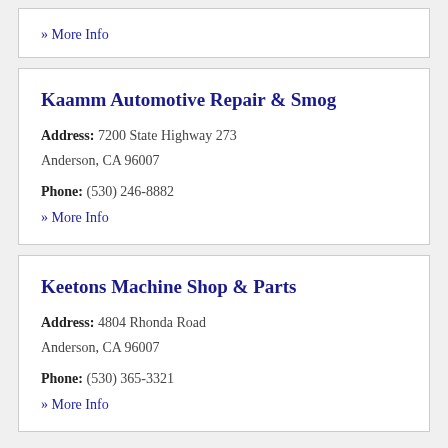» More Info
Kaamm Automotive Repair & Smog
Address: 7200 State Highway 273
Anderson, CA 96007
Phone: (530) 246-8882
» More Info
Keetons Machine Shop & Parts
Address: 4804 Rhonda Road
Anderson, CA 96007
Phone: (530) 365-3321
» More Info